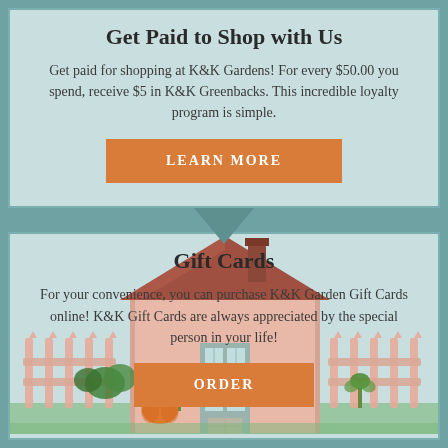Get Paid to Shop with Us
Get paid for shopping at K&K Gardens! For every $50.00 you spend, receive $5 in K&K Greenbacks. This incredible loyalty program is simple.
LEARN MORE
Gift Cards
For your convenience, you can purchase K&K Garden Gift Cards online! K&K Gift Cards are always appreciated by the special person in your life!
ORDER
[Figure (illustration): Illustration of a garden store building with a house-style roof, fence, pumpkins, and plants in autumn colors]